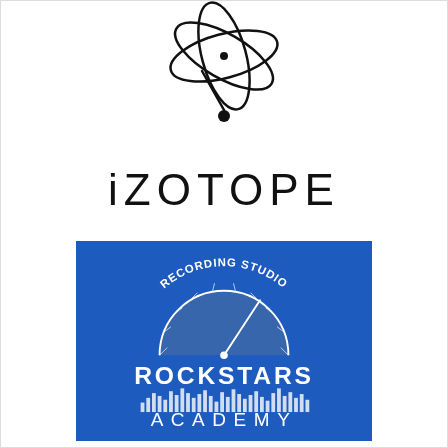[Figure (logo): iZotope logo: abstract atomic/orbital symbol in black above the word iZOTOPE in large spaced letters]
[Figure (logo): Recording Studio Rockstars Academy logo on blue background: semicircle VU meter with needle, text RECORDING STUDIO arched above, ROCKSTARS below, equalizer bars graphic, ACADEMY text at bottom]